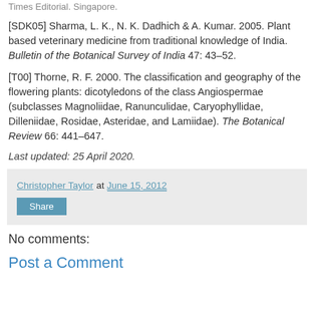Times Editorial. Singapore.
[SDK05] Sharma, L. K., N. K. Dadhich & A. Kumar. 2005. Plant based veterinary medicine from traditional knowledge of India. Bulletin of the Botanical Survey of India 47: 43–52.
[T00] Thorne, R. F. 2000. The classification and geography of the flowering plants: dicotyledons of the class Angiospermae (subclasses Magnoliidae, Ranunculidae, Caryophyllidae, Dilleniidae, Rosidae, Asteridae, and Lamiidae). The Botanical Review 66: 441–647.
Last updated: 25 April 2020.
Christopher Taylor at June 15, 2012
Share
No comments:
Post a Comment